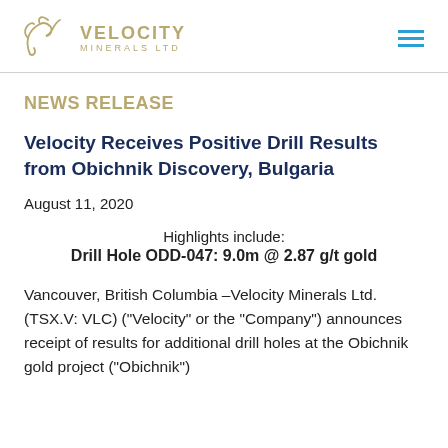Velocity Minerals Ltd — logo and navigation header
NEWS RELEASE
Velocity Receives Positive Drill Results from Obichnik Discovery, Bulgaria
August 11, 2020
Highlights include:
Drill Hole ODD-047: 9.0m @ 2.87 g/t gold
Vancouver, British Columbia –Velocity Minerals Ltd. (TSX.V: VLC) ("Velocity" or the "Company") announces receipt of results for additional drill holes at the Obichnik gold project ("Obichnik")